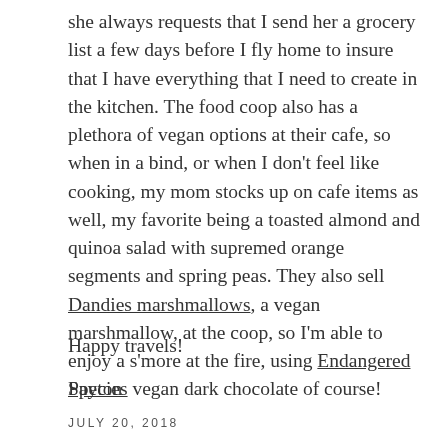she always requests that I send her a grocery list a few days before I fly home to insure that I have everything that I need to create in the kitchen. The food coop also has a plethora of vegan options at their cafe, so when in a bind, or when I don't feel like cooking, my mom stocks up on cafe items as well, my favorite being a toasted almond and quinoa salad with supremed orange segments and spring peas. They also sell Dandies marshmallows, a vegan marshmallow, at the coop, so I'm able to enjoy a s'more at the fire, using Endangered Species vegan dark chocolate of course!
Happy travels!
Payton
JULY 20, 2018